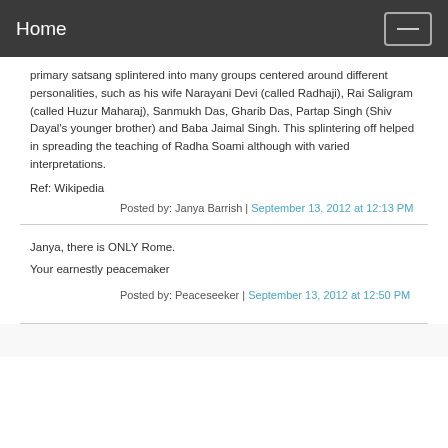Home
primary satsang splintered into many groups centered around different personalities, such as his wife Narayani Devi (called Radhaji), Rai Saligram (called Huzur Maharaj), Sanmukh Das, Gharib Das, Partap Singh (Shiv Dayal's younger brother) and Baba Jaimal Singh. This splintering off helped in spreading the teaching of Radha Soami although with varied interpretations.
Ref: Wikipedia
Posted by: Janya Barrish | September 13, 2012 at 12:13 PM
Janya, there is ONLY Rome.
Your earnestly peacemaker
Posted by: Peaceseeker | September 13, 2012 at 12:50 PM